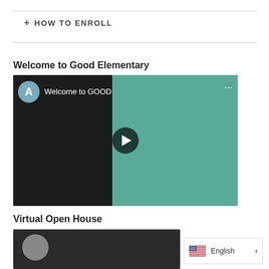+ HOW TO ENROLL
Welcome to Good Elementary
[Figure (screenshot): YouTube video thumbnail showing a teacher leaning toward a student in a lab coat with goggles inside a science classroom. Title reads 'Welcome to GOOD'. Has a circular avatar 'A', three-dot menu, and a play button in the center.]
Virtual Open House
[Figure (screenshot): Bottom portion of a second video thumbnail showing a person.]
English >